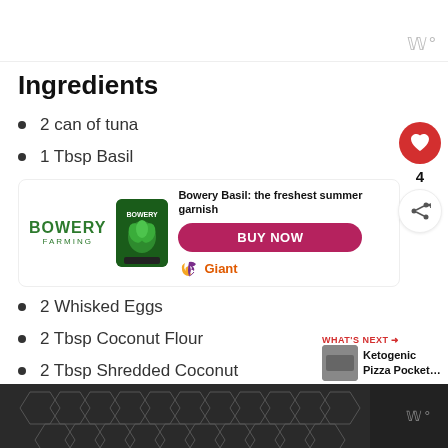[Figure (other): Top advertisement banner with watermark/logo icon on white background]
Ingredients
2 can of tuna
1 Tbsp Basil
[Figure (infographic): Bowery Farming advertisement banner showing Bowery logo, basil product image, tagline 'Bowery Basil: the freshest summer garnish', BUY NOW button, and Giant logo]
2 Whisked Eggs
2 Tbsp Coconut Flour
2 Tbsp Shredded Coconut
2 Tbsp Olive Oil
1/2 Tbsp Salt
[Figure (other): Bottom dark advertisement banner with geometric hexagon pattern and watermark icon]